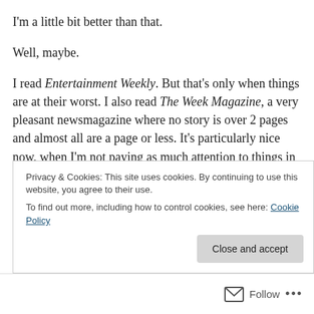I'm a little bit better than that.
Well, maybe.
I read Entertainment Weekly. But that's only when things are at their worst. I also read The Week Magazine, a very pleasant newsmagazine where no story is over 2 pages and almost all are a page or less. It's particularly nice now, when I'm not paying as much attention to things in the world, to have it all predigested for me.
And I also am catching up on lots of columnists. I love
Privacy & Cookies: This site uses cookies. By continuing to use this website, you agree to their use.
To find out more, including how to control cookies, see here: Cookie Policy
Follow